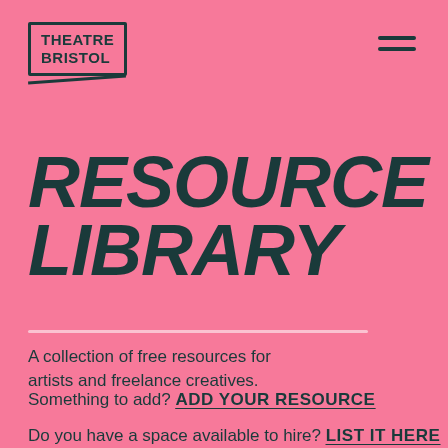[Figure (logo): Theatre Bristol logo — bold uppercase text in a rectangular border with a slanted underline]
[Figure (other): Hamburger menu icon — three horizontal bars]
RESOURCE LIBRARY
A collection of free resources for artists and freelance creatives.
Something to add? ADD YOUR RESOURCE
Do you have a space available to hire? LIST IT HERE